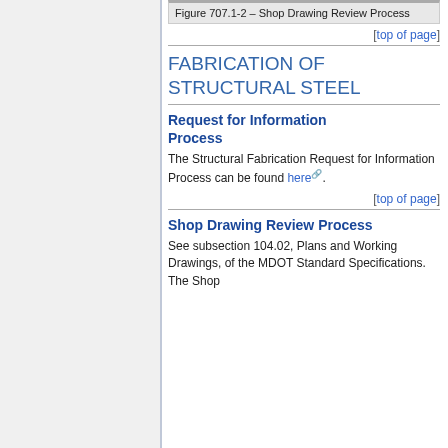Figure 707.1-2 – Shop Drawing Review Process
[top of page]
FABRICATION OF STRUCTURAL STEEL
Request for Information Process
The Structural Fabrication Request for Information Process can be found here.
[top of page]
Shop Drawing Review Process
See subsection 104.02, Plans and Working Drawings, of the MDOT Standard Specifications. The Shop